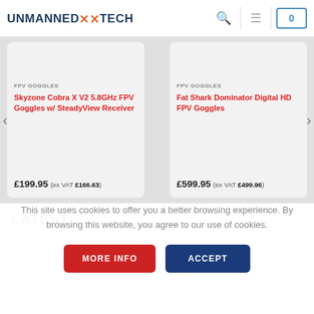UNMANNEDXTECH
[Figure (screenshot): Product listing screenshot showing two FPV goggles product cards with carousel navigation arrows]
FPV GOGGLES
Skyzone Cobra X V2 5.8GHz FPV Goggles w/ SteadyView Receiver
£199.95 (ex VAT £166.63)
FPV GOGGLES
Fat Shark Dominator Digital HD FPV Goggles
£599.95 (ex VAT £499.96)
LATEST
This site uses cookies to offer you a better browsing experience. By browsing this website, you agree to our use of cookies.
MORE INFO
ACCEPT